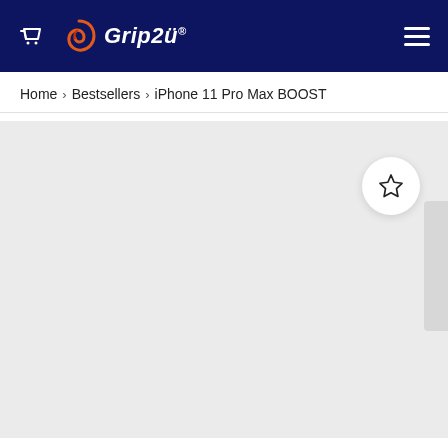Grip2ü
Home > Bestsellers > iPhone 11 Pro Max BOOST
[Figure (screenshot): Product image area with light gray background and a circular white wishlist/favorite star button in the upper right corner. A subtle shadow strip appears on the right edge suggesting a carousel.]